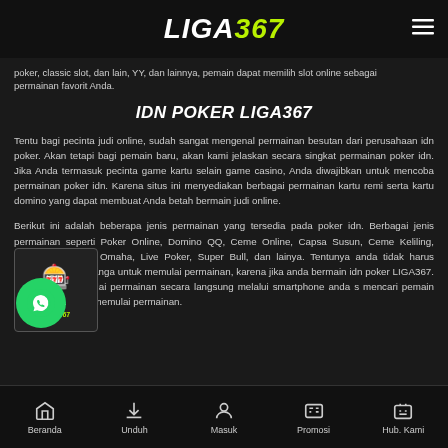LIGA367
poker, classic slot, dan lain, YY, dan lainnya, pemain dapat memilih slot online sebagai permainan favorit Anda.
IDN POKER LIGA367
Tentu bagi pecinta judi online, sudah sangat mengenal permainan besutan dari perusahaan idn poker. Akan tetapi bagi pemain baru, akan kami jelaskan secara singkat permainan poker idn. Jika Anda termasuk pecinta game kartu selain game casino, Anda diwajibkan untuk mencoba permainan poker idn. Karena situs ini menyediakan berbagai permainan kartu remi serta kartu domino yang dapat membuat Anda betah bermain judi online.
Berikut ini adalah beberapa jenis permainan yang tersedia pada poker idn. Berbagai jenis permainan seperti Poker Online, Domino QQ, Ceme Online, Capsa Susun, Ceme Keliling, Omaha, Live Poker, Super Bull, dan lainya. Tentunya anda tidak harus berpergian cari tetanga untuk memulai permainan, karena jika anda bermain idn poker LIGA367. Anda dapat memulai permainan secara langsung melalui smartphone anda s mencari pemain yang cukup untuk memulai permainan.
[Figure (logo): RTP SLOT LIGA367 badge icon]
[Figure (logo): WhatsApp contact button]
Beranda | Unduh | Masuk | Promosi | Hub. Kami